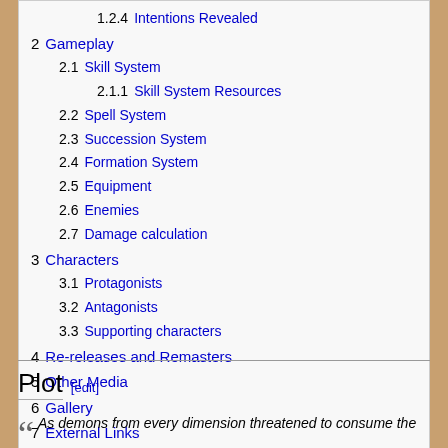1.2.4 Intentions Revealed
2  Gameplay
2.1  Skill System
2.1.1  Skill System Resources
2.2  Spell System
2.3  Succession System
2.4  Formation System
2.5  Equipment
2.6  Enemies
2.7  Damage calculation
3  Characters
3.1  Protagonists
3.2  Antagonists
3.3  Supporting characters
4  Re-releases and Remasters
5  Other Media
6  Gallery
7  External Links
Plot [edit]
As demons from every dimension threatened to consume the